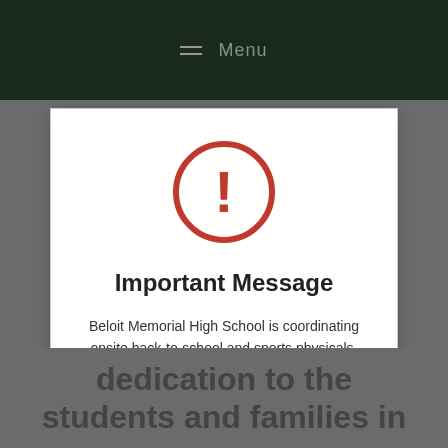Menu
[Figure (other): Red circle with exclamation mark warning icon]
Important Message
Beloit Memorial High School is coordinating onsite back-to-school and sports physicals, along with immunizations, from Monday, August 29 through Wednesday, August 31, from 8:30 am to 4:00 pm.
You must register online to set up an appointment.
dedication to the students and families in